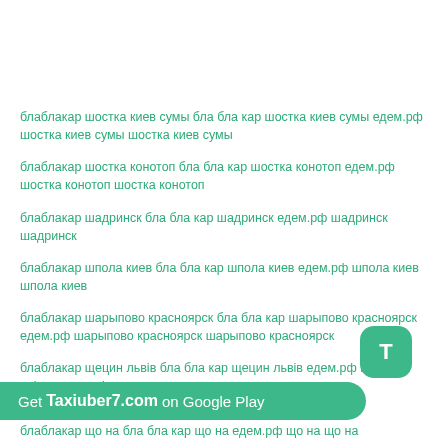блаблакар шостка киев сумы бла бла кар шостка киев сумы едем.рф шостка киев сумы шостка киев сумы
блаблакар шостка конотоп бла бла кар шостка конотоп едем.рф шостка конотоп шостка конотоп
блаблакар шадринск бла бла кар шадринск едем.рф шадринск шадринск
блаблакар шпола киев бла бла кар шпола киев едем.рф шпола киев шпола киев
блаблакар шарыпово красноярск бла бла кар шарыпово красноярск едем.рф шарыпово красноярск шарыпово красноярск
блаблакар щецин львів бла бла кар щецин львів едем.рф щецин львів щецин львів
блаблакар що на бла бла кар що на едем.рф що на що на